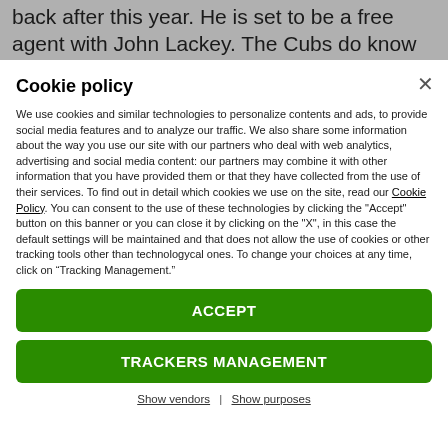back after this year. He is set to be a free agent with John Lackey. The Cubs do know that moving f...
Cookie policy
We use cookies and similar technologies to personalize contents and ads, to provide social media features and to analyze our traffic. We also share some information about the way you use our site with our partners who deal with web analytics, advertising and social media content: our partners may combine it with other information that you have provided them or that they have collected from the use of their services. To find out in detail which cookies we use on the site, read our Cookie Policy. You can consent to the use of these technologies by clicking the "Accept" button on this banner or you can close it by clicking on the "X", in this case the default settings will be maintained and that does not allow the use of cookies or other tracking tools other than technologycal ones. To change your choices at any time, click on “Tracking Management.”
ACCEPT
TRACKERS MANAGEMENT
Show vendors | Show purposes